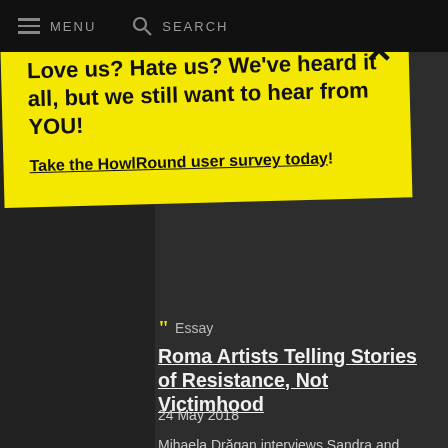MENU   SEARCH
[Figure (screenshot): Yellow banner popup with bold text: Love us? Hate us? We've heard it all, but we still want to hear from YOU! Take the HowlRound user survey today! with an X close button]
Essay
Roma Artists Telling Stories of Resistance, Not Victimhood
24 May 2018
Mihaela Drăgan interviews Sandra and Simonida Selimovic of Mindj Panther about their show Roma Armee, and the activist